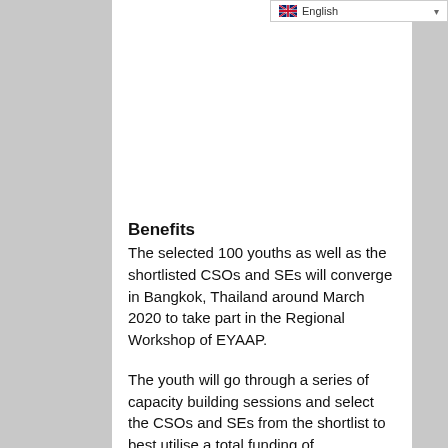English
Benefits
The selected 100 youths as well as the shortlisted CSOs and SEs will converge in Bangkok, Thailand around March 2020 to take part in the Regional Workshop of EYAAP.
The youth will go through a series of capacity building sessions and select the CSOs and SEs from the shortlist to best utilise a total funding of USD$200,000.